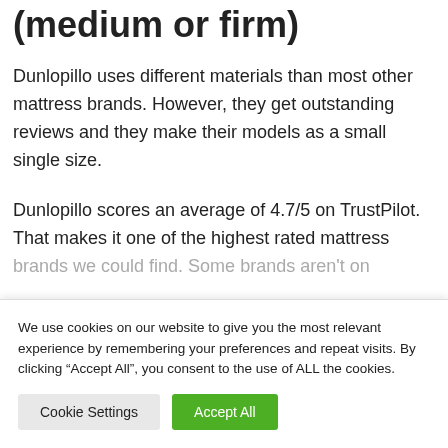(medium or firm)
Dunlopillo uses different materials than most other mattress brands. However, they get outstanding reviews and they make their models as a small single size.
Dunlopillo scores an average of 4.7/5 on TrustPilot. That makes it one of the highest rated mattress brands we could find. Some brands aren't on
We use cookies on our website to give you the most relevant experience by remembering your preferences and repeat visits. By clicking “Accept All”, you consent to the use of ALL the cookies.
Cookie Settings
Accept All